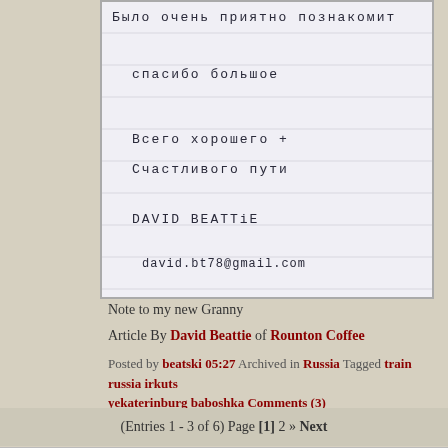[Figure (photo): Handwritten note on lined paper in Russian with name David Beattie and email david.bt78@gmail.com]
Note to my new Granny
Article By David Beattie of Rounton Coffee
Posted by beatski 05:27 Archived in Russia Tagged train russia irkuts yekaterinburg baboshka Comments (3)
(Entries 1 - 3 of 6) Page [1] 2 » Next